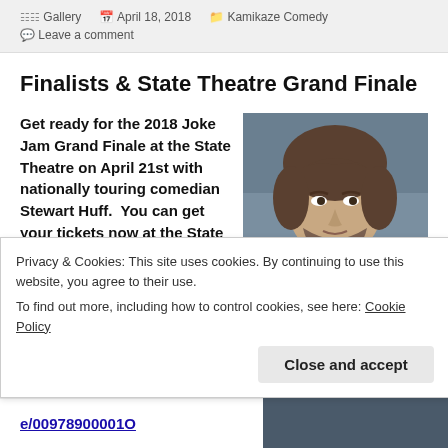Gallery  April 18, 2018  Kamikaze Comedy  Leave a comment
Finalists & State Theatre Grand Finale
Get ready for the 2018 Joke Jam Grand Finale at the State Theatre on April 21st with nationally touring comedian Stewart Huff.  You can get your tickets now at the State Theatre or Bijou
[Figure (photo): Portrait photo of comedian Stewart Huff, a man with medium-length brown hair and a beard, against a grey background]
Privacy & Cookies: This site uses cookies. By continuing to use this website, you agree to their use.
To find out more, including how to control cookies, see here: Cookie Policy
Close and accept
e/00978900001O